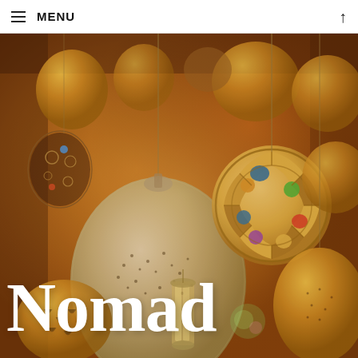≡ MENU ↑
[Figure (photo): A collection of ornate Moroccan hanging lanterns in gold, silver, and multicolored stained glass, densely clustered together in warm golden lighting inside a market or bazaar.]
Nomad